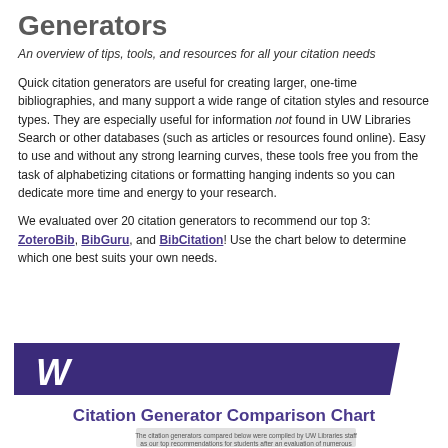Generators
An overview of tips, tools, and resources for all your citation needs
Quick citation generators are useful for creating larger, one-time bibliographies, and many support a wide range of citation styles and resource types. They are especially useful for information not found in UW Libraries Search or other databases (such as articles or resources found online). Easy to use and without any strong learning curves, these tools free you from the task of alphabetizing citations or formatting hanging indents so you can dedicate more time and energy to your research.
We evaluated over 20 citation generators to recommend our top 3: ZoteroBib, BibGuru, and BibCitation! Use the chart below to determine which one best suits your own needs.
[Figure (other): University of Washington purple banner with white W logo and a Citation Generator Comparison Chart title below it, along with a partially visible caption box about the citation generators compared.]